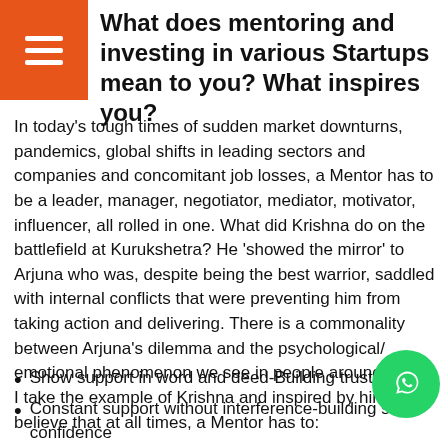What does mentoring and investing in various Startups mean to you? What inspires you?
In today's tough times of sudden market downturns, pandemics, global shifts in leading sectors and companies and concomitant job losses, a Mentor has to be a leader, manager, negotiator, mediator, motivator, influencer, all rolled in one. What did Krishna do on the battlefield at Kurukshetra? He 'showed the mirror' to Arjuna who was, despite being the best warrior, saddled with internal conflicts that were preventing him from taking action and delivering. There is a commonality between Arjuna's dilemma and the psychological/ emotional phenomenon we see in people around us.
I take the example of Krishna and inspired by him, I believe that at all times, a Mentor has to:
Show support in word and deed-Building trust
Constant support without interference-building self confidence
A relationship of fun and cheer-building openness